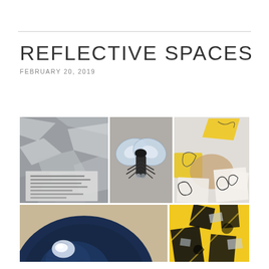REFLECTIVE SPACES
FEBRUARY 20, 2019
[Figure (photo): Grid of five art/photography images: (1) crumpled metallic foil with printed text beneath it, (2) a small sculptural insect/fly made from reflective materials, (3) abstract artworks on paper with yellow and brown shapes, (4) a large deep blue glossy curved surface with a bright white highlight, (5) abstract yellow and black geometric collage with reflective fragments.]